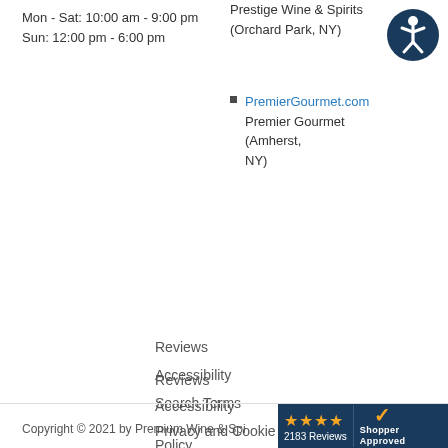Mon - Sat: 10:00 am - 9:00 pm
Sun: 12:00 pm - 6:00 pm
Prestige Wine & Spirits (Orchard Park, NY)
PremierGourmet.com Premier Gourmet (Amherst, NY)
[Figure (illustration): Accessibility icon: circular dark blue icon with a white stick figure representing accessibility]
Apply for a Job
Reviews
Accessibility
Search Terms
Privacy and Cookie Policy
Advanced Search
Orders and Returns
Contact Us
Blog
Copyright © 2021 by Premium Wine & Spi...
[Figure (logo): Shopper Approved badge with 4 orange stars, 2183 Reviews, and Shopper Approved logo on dark blue background]